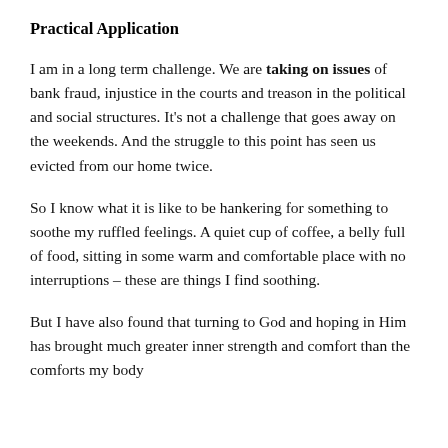Practical Application
I am in a long term challenge.  We are taking on issues of bank fraud, injustice in the courts and treason in the political and social structures.  It’s not a challenge that goes away on the weekends.  And the struggle to this point has seen us evicted from our home twice.
So I know what it is like to be hankering for something to soothe my ruffled feelings.  A quiet cup of coffee, a belly full of food, sitting in some warm and comfortable place with no interruptions – these are things I find soothing.
But I have also found that turning to God and hoping in Him has brought much greater inner strength and comfort than the comforts my body craves.